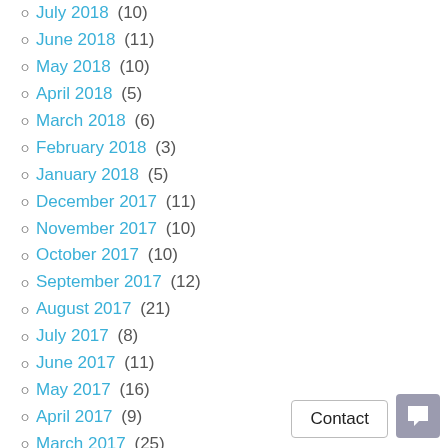July 2018 (10)
June 2018 (11)
May 2018 (10)
April 2018 (5)
March 2018 (6)
February 2018 (3)
January 2018 (5)
December 2017 (11)
November 2017 (10)
October 2017 (10)
September 2017 (12)
August 2017 (21)
July 2017 (8)
June 2017 (11)
May 2017 (16)
April 2017 (9)
March 2017 (25)
February 2017 (11)
January 2017 (17)